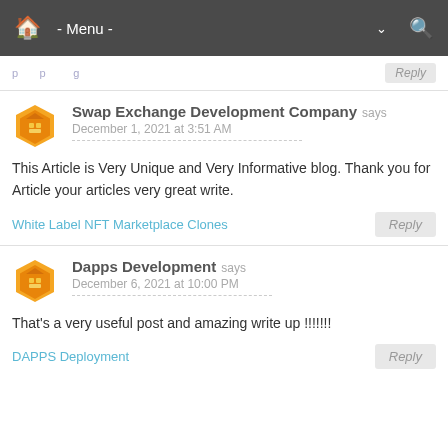Home - Menu - Search
Reply
Swap Exchange Development Company says
December 1, 2021 at 3:51 AM

This Article is Very Unique and Very Informative blog. Thank you for Article your articles very great write.

White Label NFT Marketplace Clones
Reply
Dapps Development says
December 6, 2021 at 10:00 PM

That's a very useful post and amazing write up !!!!!!!

DAPPS Deployment
Reply